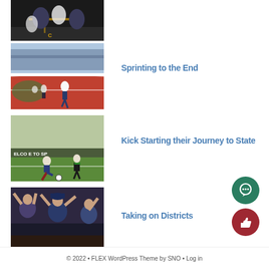[Figure (photo): Football players on field with black and gold colors]
[Figure (photo): Track runner on red track, leading race]
Sprinting to the End
[Figure (photo): Soccer player kicking ball on field with WELCOME TO SPARTA sign]
Kick Starting their Journey to State
[Figure (photo): Baseball players celebrating, raising arms]
Taking on Districts
© 2022 • FLEX WordPress Theme by SNO • Log in